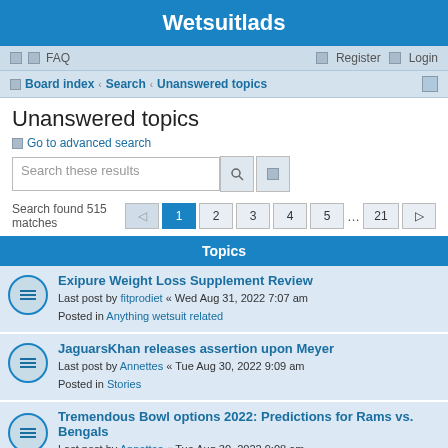Wetsuitlads
FAQ | Register | Login
Board index › Search › Unanswered topics
Unanswered topics
Go to advanced search
Search these results
Search found 515 matches  1 2 3 4 5 … 21
Topics
Exipure Weight Loss Supplement Review
Last post by fitprodiet « Wed Aug 31, 2022 7:07 am
Posted in Anything wetsuit related
JaguarsKhan releases assertion upon Meyer
Last post by Annettes « Tue Aug 30, 2022 9:09 am
Posted in Stories
Tremendous Bowl options 2022: Predictions for Rams vs. Bengals
Last post by Annettes « Tue Aug 30, 2022 9:08 am
Posted in Videos